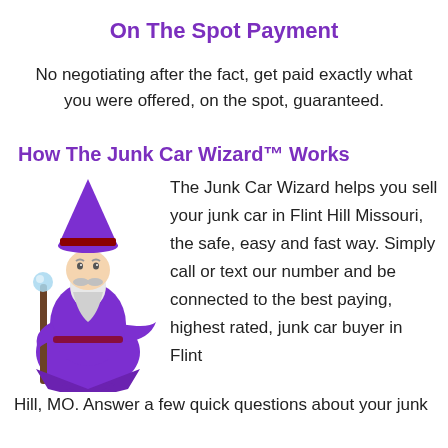On The Spot Payment
No negotiating after the fact, get paid exactly what you were offered, on the spot, guaranteed.
How The Junk Car Wizard™ Works
[Figure (illustration): Cartoon wizard in purple robe and hat holding a staff with a glowing orb]
The Junk Car Wizard helps you sell your junk car in Flint Hill Missouri, the safe, easy and fast way. Simply call or text our number and be connected to the best paying, highest rated, junk car buyer in Flint Hill, MO. Answer a few quick questions about your junk